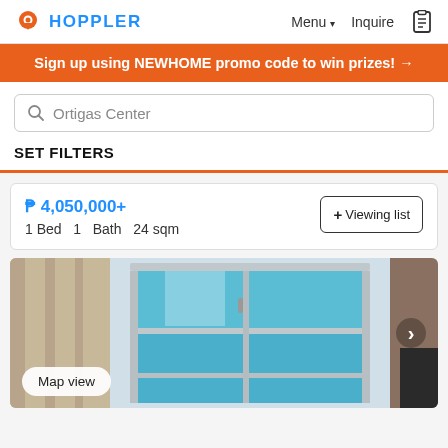HOPPLER  Menu ▾  Inquire
Sign up using NEWHOME promo code to win prizes! →
Ortigas Center
SET FILTERS
₱ 4,050,000+  1 Bed  1  Bath  24 sqm
+ Viewing list
[Figure (photo): Interior photo of an open wardrobe/closet with turquoise-blue shelving and chrome rails, with beige curtains visible on the left and a dark surface on the right edge.]
Map view